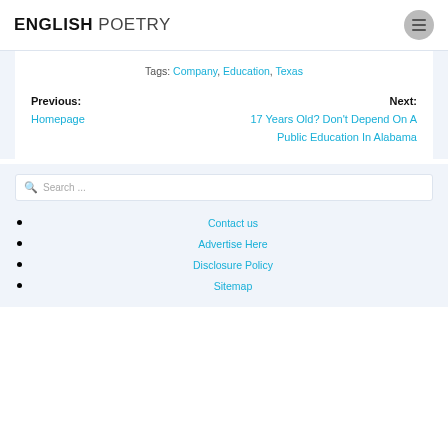ENGLISH POETRY
Tags: Company, Education, Texas
Previous: Homepage | Next: 17 Years Old? Don't Depend On A Public Education In Alabama
Search ...
Contact us
Advertise Here
Disclosure Policy
Sitemap